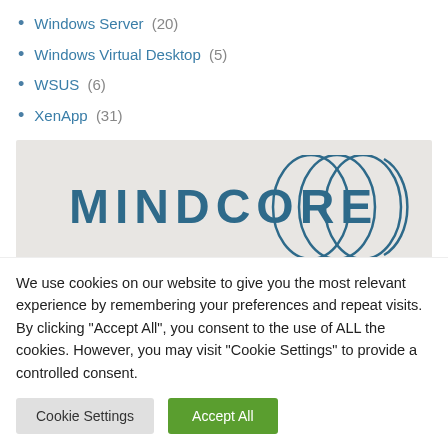Windows Server (20)
Windows Virtual Desktop (5)
WSUS (6)
XenApp (31)
[Figure (logo): Mindcore logo with circular overlapping arcs graphic on light gray background, with partial text 'Follow & M...' at the bottom]
We use cookies on our website to give you the most relevant experience by remembering your preferences and repeat visits. By clicking “Accept All”, you consent to the use of ALL the cookies. However, you may visit "Cookie Settings" to provide a controlled consent.